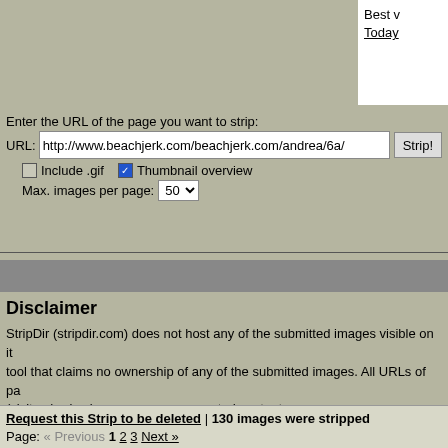Best v Today
Enter the URL of the page you want to strip:
URL: http://www.beachjerk.com/beachjerk.com/andrea/6a/  [Strip!]
Include .gif  Thumbnail overview  Max. images per page: 50
Disclaimer
StripDir (stripdir.com) does not host any of the submitted images visible on it tool that claims no ownership of any of the submitted images. All URLs of pa (visitors), also known as user generated content.
All copyrights belong to their respective owner.
Any copyright infrigements will be handled using the procedures outlined in t (DMCA).
Please use the link "Request this Strip to be deleted", at the top and bottom based on copyright or other grounds.
StripDir is looking for a new owner
For inquiry, please use the email address listed in the FAQ.
Request this Strip to be deleted  | 130 images were stripped
Page: « Previous 1 2 3 Next »